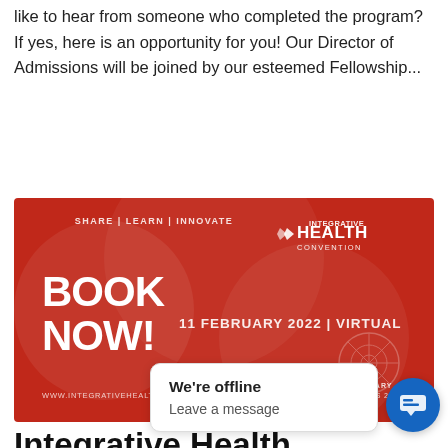like to hear from someone who completed the program? If yes, here is an opportunity for you! Our Director of Admissions will be joined by our esteemed Fellowship...
[Figure (other): Red promotional banner for the Integrative Health Convention. Text reads: SHARE | LEARN | INNOVATE, INTEGRATIVE HEALTH CONVENTION, BOOK NOW!, 11 FEBRUARY 2022 | VIRTUAL, www.integrativehealthconvention.co.uk, COMPLEMENTARY THERAPY AWARDS 2022]
Integrative Health Convention Complementary Health & Integrative Medicine Annual Convention
The Integrative Health Convention returns for 2022, with a one-day virtual event on 11 February culminating in the Complementary Therapy Awards ceremony. The Co... re and celebrate co... style measures integrating with...
We're offline
Leave a message